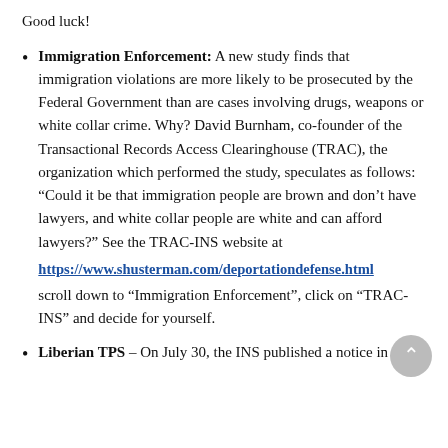Good luck!
Immigration Enforcement: A new study finds that immigration violations are more likely to be prosecuted by the Federal Government than are cases involving drugs, weapons or white collar crime. Why? David Burnham, co-founder of the Transactional Records Access Clearinghouse (TRAC), the organization which performed the study, speculates as follows: “Could it be that immigration people are brown and don’t have lawyers, and white collar people are white and can afford lawyers?” See the TRAC-INS website at https://www.shusterman.com/deportationdefense.html scroll down to “Immigration Enforcement”, click on “TRAC-INS” and decide for yourself.
Liberian TPS – On July 30, the INS published a notice in